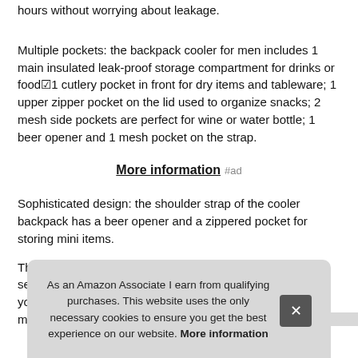hours without worrying about leakage.
Multiple pockets: the backpack cooler for men includes 1 main insulated leak-proof storage compartment for drinks or food&1 cutlery pocket in front for dry items and tableware; 1 upper zipper pocket on the lid used to organize snacks; 2 mesh side pockets are perfect for wine or water bottle; 1 beer opener and 1 mesh pocket on the strap.
More information #ad
Sophisticated design: the shoulder strap of the cooler backpack has a beer opener and a zippered pocket for storing mini items.
The [partially obscured text] ...
As an Amazon Associate I earn from qualifying purchases. This website uses the only necessary cookies to ensure you get the best experience on our website. More information